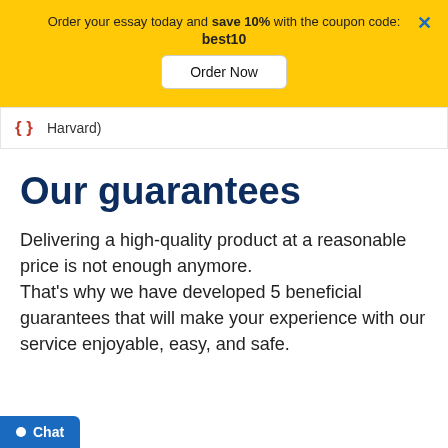Order your essay today and save 10% with the coupon code: best10
Order Now
Harvard)
Our guarantees
Delivering a high-quality product at a reasonable price is not enough anymore. That’s why we have developed 5 beneficial guarantees that will make your experience with our service enjoyable, easy, and safe.